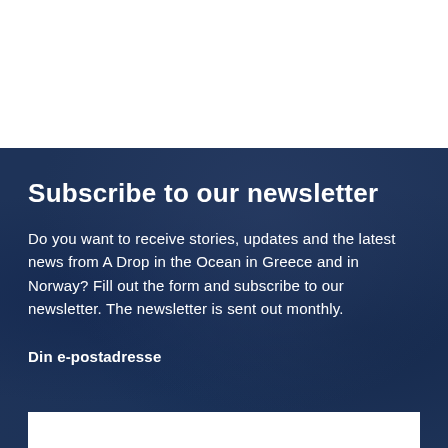Subscribe to our newsletter
Do you want to receive stories, updates and the latest news from A Drop in the Ocean in Greece and in Norway? Fill out the form and subscribe to our newsletter. The newsletter is sent out monthly.
Din e-postadresse